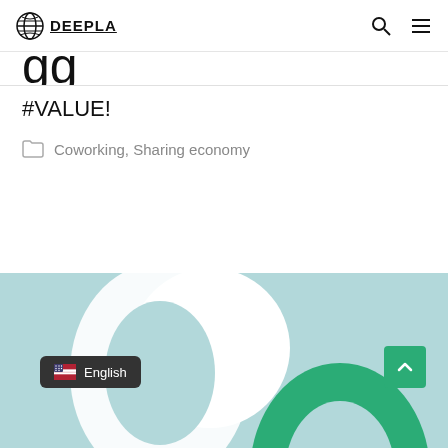DEEPLA
#VALUE!
Coworking, Sharing economy
[Figure (screenshot): Bottom section showing a light blue background with a partial large green letter O shape, a white circular ring shape, an English language selector badge, and a green scroll-to-top button with an up arrow.]